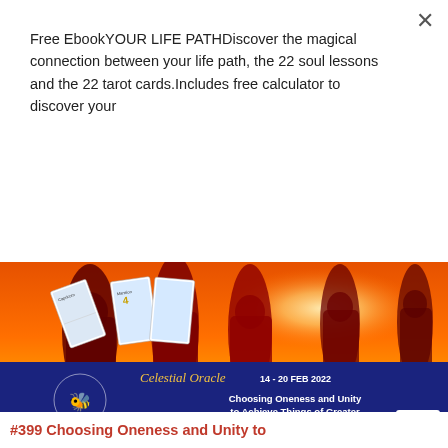Free EbookYOUR LIFE PATHDiscover the magical connection between your life path, the 22 soul lessons and the 22 tarot cards.Includes free calculator to discover your
[Figure (other): Subscribe button - pink/crimson rectangular button with white bold text reading 'Subscribe']
[Figure (photo): Banner image showing silhouettes of people against an orange/red sunset sky. Overlaid with tarot cards and a dark navy bar at the bottom showing 'Celestial Oracle 14 - 20 FEB 2022' and text 'Choosing Oneness and Unity to Achieve Things of Greater Significance'. A bee emblem is visible on the navy bar.]
#399 Choosing Oneness and Unity to